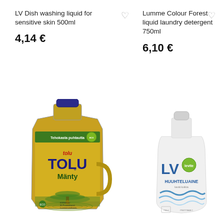LV Dish washing liquid for sensitive skin 500ml
4,14 €
Lumme Colour Forest liquid laundry detergent 750ml
6,10 €
[Figure (photo): Tolu Mänty cleaning liquid bottle, yellow/green label with a tree graphic]
[Figure (photo): LV Huuhteluaine white bottle with blue wave graphic and green logo circle]